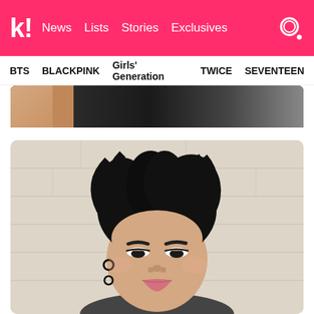k! News Lists Stories Exclusives
BTS BLACKPINK Girls' Generation TWICE SEVENTEEN
[Figure (photo): Partial view of a person against a dark background - top cropped image]
[Figure (photo): A young man with black tousled hair lying on a light wood floor, looking up at camera with a pouty expression, wearing small hoop earrings and a gray top]